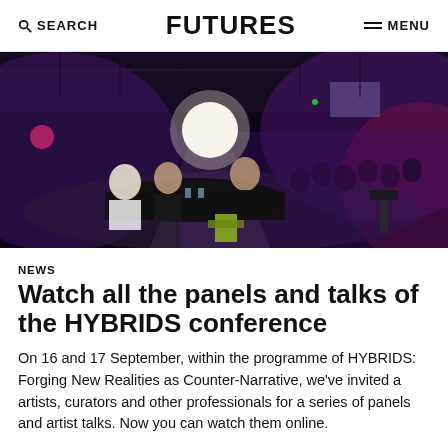SEARCH  FUTURES  MENU
[Figure (photo): Panel discussion on a dark stage with dramatic purple and pink lighting. Several panelists are seated around a black-draped table in the foreground, with an audience visible in the background. Stage lighting equipment and a camera rig are visible.]
NEWS
Watch all the panels and talks of the HYBRIDS conference
On 16 and 17 September, within the programme of HYBRIDS: Forging New Realities as Counter-Narrative, we've invited a artists, curators and other professionals for a series of panels and artist talks. Now you can watch them online.